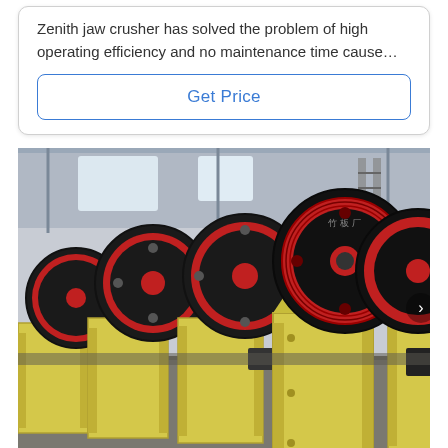Zenith jaw crusher has solved the problem of high operating efficiency and no maintenance time cause…
Get Price
[Figure (photo): Industrial photograph of multiple Zenith jaw crushers lined up in a factory/warehouse setting. The machines are painted yellow with black and red flywheel assemblies. The industrial building has high ceilings with metal framework visible in the background.]